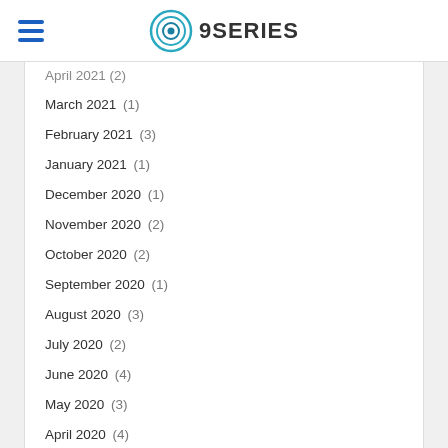9SERIES
April 2021  (2)
March 2021  (1)
February 2021  (3)
January 2021  (1)
December 2020  (1)
November 2020  (2)
October 2020  (2)
September 2020  (1)
August 2020  (3)
July 2020  (2)
June 2020  (4)
May 2020  (3)
April 2020  (4)
March 2020  (4)
February 2020  (3)
January 2020  (2)